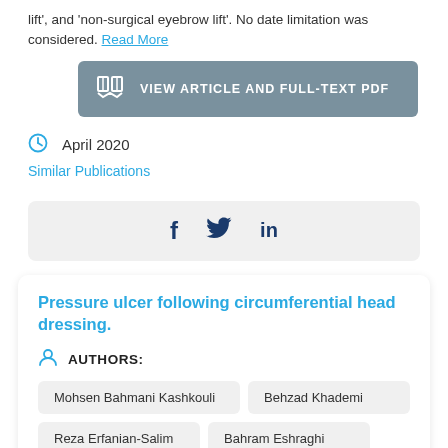lift', and 'non-surgical eyebrow lift'. No date limitation was considered. Read More
VIEW ARTICLE AND FULL-TEXT PDF
April 2020
Similar Publications
[Figure (infographic): Social sharing icons: Facebook (f), Twitter (bird), LinkedIn (in)]
Pressure ulcer following circumferential head dressing.
AUTHORS:
Mohsen Bahmani Kashkouli
Behzad Khademi
Reza Erfanian-Salim
Bahram Eshraghi
Nasser Karimi
Maryam Maleki